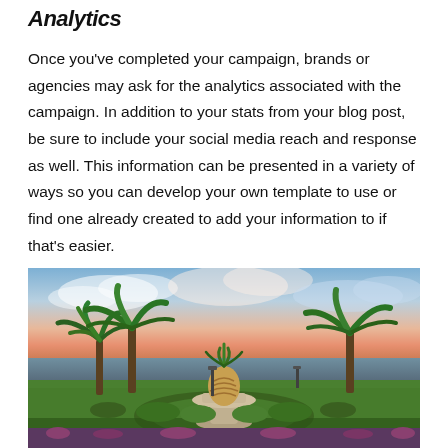Analytics
Once you've completed your campaign, brands or agencies may ask for the analytics associated with the campaign. In addition to your stats from your blog post, be sure to include your social media reach and response as well. This information can be presented in a variety of ways so you can develop your own template to use or find one already created to add your information to if that's easier.
[Figure (photo): Outdoor waterfront park scene at sunset/dusk featuring a large pineapple fountain in the center, surrounded by circular hedgerows, palm trees on both sides, a body of water in the background, and a colorful sky with pink, orange, and blue hues.]